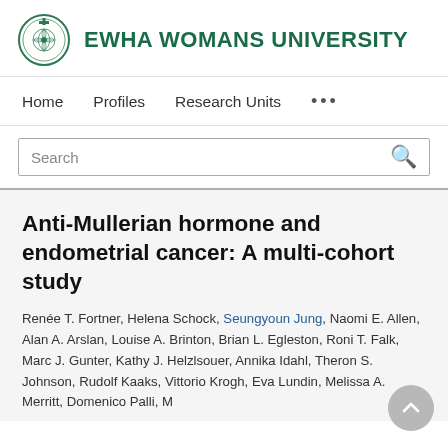EWHA WOMANS UNIVERSITY
Home   Profiles   Research Units   ...
Search
Anti-Mullerian hormone and endometrial cancer: A multi-cohort study
Renée T. Fortner, Helena Schock, Seungyoun Jung, Naomi E. Allen, Alan A. Arslan, Louise A. Brinton, Brian L. Egleston, Roni T. Falk, Marc J. Gunter, Kathy J. Helzlsouer, Annika Idahl, Theron S. Johnson, Rudolf Kaaks, Vittorio Krogh, Eva Lundin, Melissa A. Merritt, Domenico Palli, M...